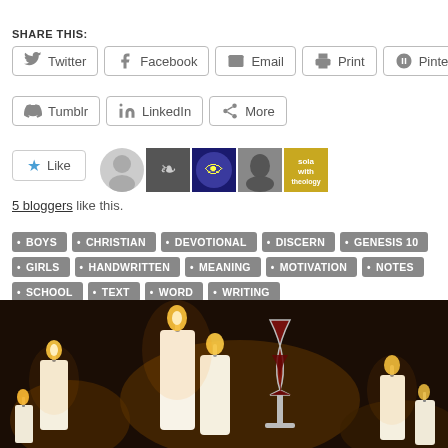SHARE THIS:
Twitter | Facebook | Email | Print | Pinterest | Tumblr | LinkedIn | More
[Figure (other): Like button with star icon and 5 blogger avatars]
5 bloggers like this.
BOYS, CHRISTIAN, DEVOTIONAL, DISCERN, GENESIS 10, GIRLS, HANDWRITTEN, MEANING, MOTIVATION, NOTES, SCHOOL, TEXT, WORD, WRITING
[Figure (photo): Photo of candles and a glass of red wine on a dark background]